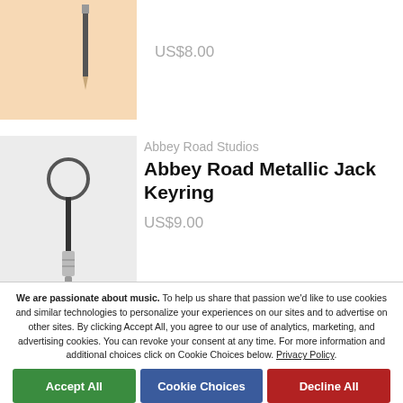[Figure (photo): Product photo: pencil on peach/orange background, partially cut off at top]
US$8.00
Abbey Road Studios
Abbey Road Metallic Jack Keyring
US$9.00
[Figure (photo): Product photo: metallic audio jack keyring on light gray background]
Abbey Road Studios
We are passionate about music. To help us share that passion we'd like to use cookies and similar technologies to personalize your experiences on our sites and to advertise on other sites. By clicking Accept All, you agree to our use of analytics, marketing, and advertising cookies. You can revoke your consent at any time. For more information and additional choices click on Cookie Choices below. Privacy Policy.